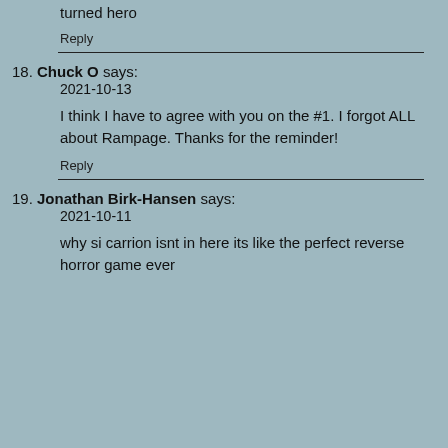turned hero
Reply
18. Chuck O says:
2021-10-13
I think I have to agree with you on the #1. I forgot ALL about Rampage. Thanks for the reminder!
Reply
19. Jonathan Birk-Hansen says:
2021-10-11
why si carrion isnt in here its like the perfect reverse horror game ever